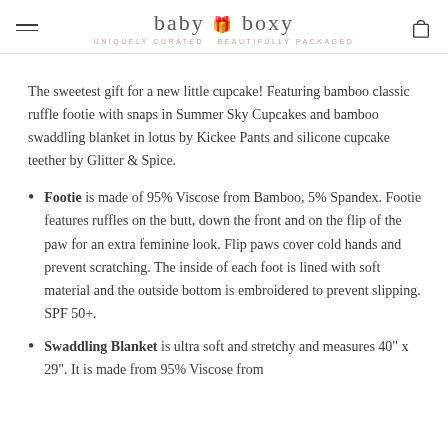baby boxy — UNIQUELY CURATED BEAUTIFULLY PACKAGED
The sweetest gift for a new little cupcake! Featuring bamboo classic ruffle footie with snaps in Summer Sky Cupcakes and bamboo swaddling blanket in lotus by Kickee Pants and silicone cupcake teether by Glitter & Spice.
Footie is made of 95% Viscose from Bamboo, 5% Spandex. Footie features ruffles on the butt, down the front and on the flip of the paw for an extra feminine look. Flip paws cover cold hands and prevent scratching. The inside of each foot is lined with soft material and the outside bottom is embroidered to prevent slipping. SPF 50+.
Swaddling Blanket is ultra soft and stretchy and measures 40" x 29". It is made from 95% Viscose from